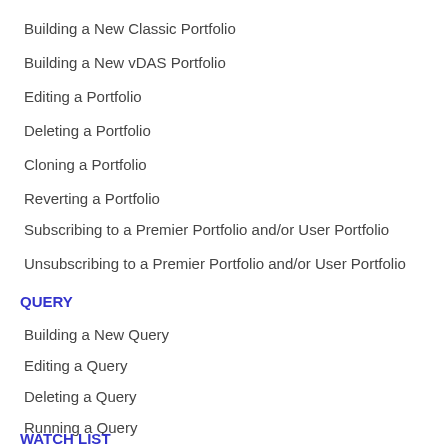Building a New Classic Portfolio
Building a New vDAS Portfolio
Editing a Portfolio
Deleting a Portfolio
Cloning a Portfolio
Reverting a Portfolio
Subscribing to a Premier Portfolio and/or User Portfolio
Unsubscribing to a Premier Portfolio and/or User Portfolio
QUERY
Building a New Query
Editing a Query
Deleting a Query
Running a Query
WATCH LIST